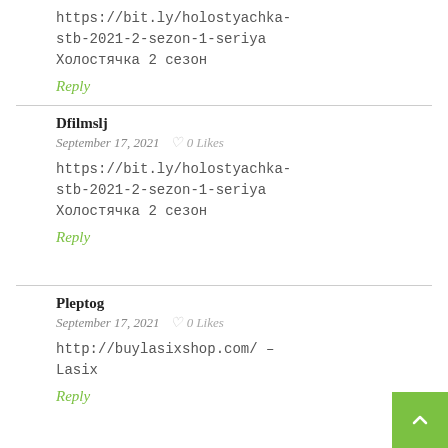https://bit.ly/holostyachka-stb-2021-2-sezon-1-seriya
Холостячка 2 сезон
Reply
Dfilmslj
September 17, 2021  ♡ 0 Likes
https://bit.ly/holostyachka-stb-2021-2-sezon-1-seriya
Холостячка 2 сезон
Reply
Pleptog
September 17, 2021  ♡ 0 Likes
http://buylasixshop.com/ – Lasix
Reply